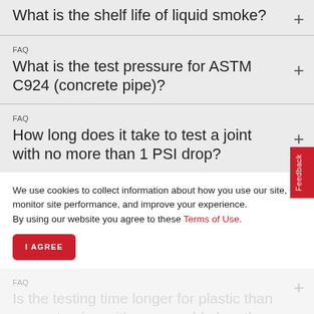What is the shelf life of liquid smoke?
FAQ
What is the test pressure for ASTM C924 (concrete pipe)?
FAQ
How long does it take to test a joint with no more than 1 PSI drop?
We use cookies to collect information about how you use our site, monitor site performance, and improve your experience.
By using our website you agree to these Terms of Use.
I AGREE
FAQ
Is the testing time longer for plastic than concrete pipe with comparable lengths and diameters?